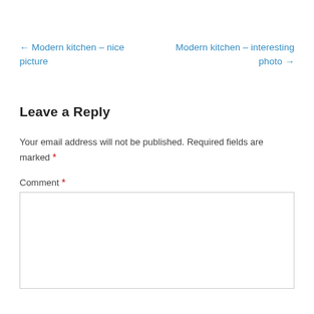← Modern kitchen – nice picture
Modern kitchen – interesting photo →
Leave a Reply
Your email address will not be published. Required fields are marked *
Comment *